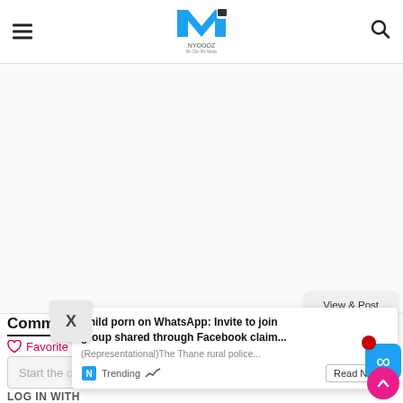NYOOOZ - My City My News
[Figure (screenshot): White banner area / advertisement placeholder]
Comments
Community (lock icon)
Favorite
Start the conversation...
[Figure (screenshot): Popup card with X button, headline: Child porn on WhatsApp: Invite to join group shared through Facebook claim..., subtext: (Representational)The Thane rural police..., Trending label, Read Next button]
View & Post Comments Here
LOG IN WITH
[Figure (logo): Social login icons: Disqus (blue D), Facebook (blue f), Twitter (blue bird), Google (red G)]